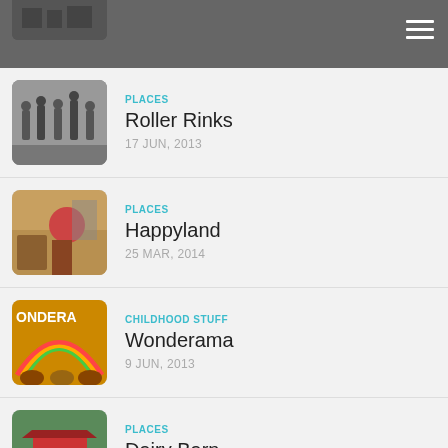PLACES
Roller Rinks
17 JUN, 2013
PLACES
Happyland
25 MAR, 2014
CHILDHOOD STUFF
Wonderama
9 JUN, 2013
PLACES
Dairy Barn
23 JUL, 2013